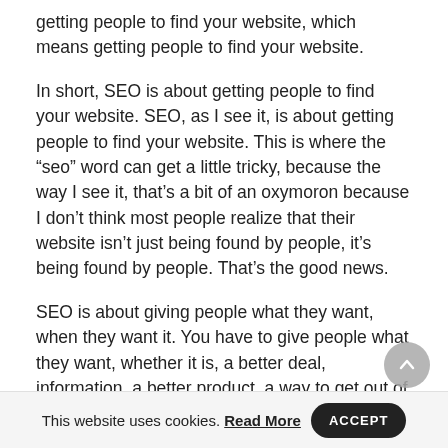getting people to find your website, which means getting people to find your website.
In short, SEO is about getting people to find your website. SEO, as I see it, is about getting people to find your website. This is where the “seo” word can get a little tricky, because the way I see it, that’s a bit of an oxymoron because I don’t think most people realize that their website isn’t just being found by people, it’s being found by people. That’s the good news.
SEO is about giving people what they want, when they want it. You have to give people what they want, whether it is, a better deal, information, a better product, a way to get out of a tough situation, or simply more knowledge. So if your website isnt getting people to find it, you have to do something about it.
This is exactly what you need to do. And not just for SEO but
This website uses cookies. Read More  ACCEPT